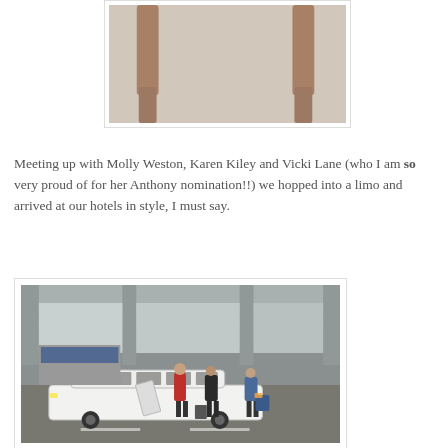[Figure (photo): Top partial photo showing wooden chair legs or furniture pieces on a carpet floor, cropped at top of page]
Meeting up with Molly Weston, Karen Kiley and Vicki Lane (who I am so very proud of for her Anthony nomination!!) we hopped into a limo and arrived at our hotels in style, I must say.
[Figure (photo): Photo of a white stretch limousine parked in a covered parking garage/airport pickup area, with several people standing near it, one in a red jacket and one in a blue uniform carrying luggage]